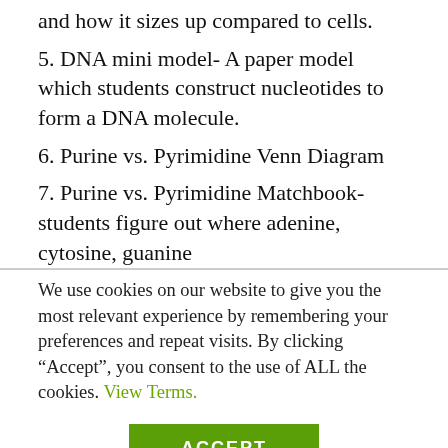and how it sizes up compared to cells.
5. DNA mini model- A paper model which students construct nucleotides to form a DNA molecule.
6. Purine vs. Pyrimidine Venn Diagram
7. Purine vs. Pyrimidine Matchbook- students figure out where adenine, cytosine, guanine
We use cookies on our website to give you the most relevant experience by remembering your preferences and repeat visits. By clicking “Accept”, you consent to the use of ALL the cookies. View Terms.
ACCEPT